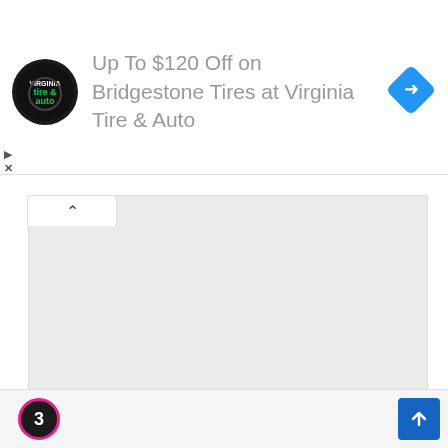[Figure (other): Advertisement banner: Virginia Tire & Auto logo (circular black logo with 'tire & auto' text) followed by text 'Up To $120 Off on Bridgestone Tires at Virginia Tire & Auto' in gray, with a blue diamond-shaped navigation icon on the right.]
[Figure (other): Gray placeholder rectangle representing a map or image area with a white collapse/expand tab at top-left showing an upward caret (^).]
Updated Charges On Missouri Man After Hitting Grady Arkansas Police Officer
[Figure (other): Bottom navigation bar with a numbered circle badge showing '3' with pink border on dark background on the left, and a blue square button with a white upward arrow on the right.]